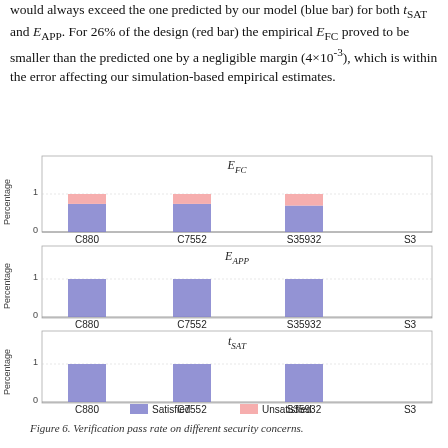would always exceed the one predicted by our model (blue bar) for both t_SAT and E_APP. For 26% of the design (red bar) the empirical E_FC proved to be smaller than the predicted one by a negligible margin (4×10⁻³), which is within the error affecting our simulation-based empirical estimates.
[Figure (stacked-bar-chart): E_FC]
[Figure (bar-chart): E_APP]
[Figure (bar-chart): t_SAT]
Figure 6. Verification pass rate on different security concerns.